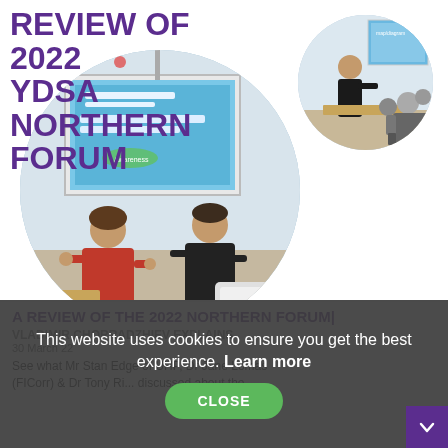REVIEW OF 2022 YDSA NORTHERN FORUM
[Figure (photo): Circular cropped photo of two people standing in front of a presentation screen showing a slide about Microbiologically Influenced Corrosion (MIC) - Awareness. A woman in red on the left and a man in black on the right.]
[Figure (photo): Circular cropped photo of a man presenting/speaking in front of a screen with audience seated in the foreground.]
[Figure (logo): YDSA Professional Yacht Designers & Surveyors logo with text YDSA and a cogwheel icon on a purple background bar.]
A REVIEW OF THE 2022 NORTHERN FORUM|
VLADIMIR CHORRADZHIEV EXPLAINS
30 March 22
See what Mr Stan Edge of UHP, Dr Jane Lomas (FICorr) & Dr Tony Ri... discussed about the
This website uses cookies to ensure you get the best experience. Learn more
[Figure (other): CLOSE button - green rounded pill button with white text CLOSE]